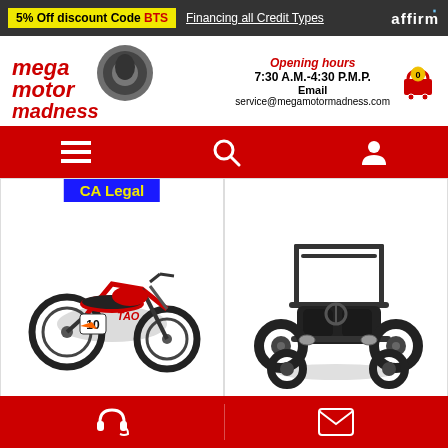5% Off discount Code BTS  |  Financing all Credit Types  |  affirm
[Figure (logo): Mega Motor Madness logo — red stylized text with motorcycle gear graphic]
Opening hours
7:30 A.M.-4:30 P.M.P.
Email
service@megamotormadness.com
[Figure (infographic): Navigation bar with hamburger menu, search icon, and user account icon on red background]
[Figure (photo): Taotao DB10 dirt bike — black motorcycle with number 10, CA Legal badge overlay]
Taotao DB10
[Figure (photo): Taotao GK110 go-kart — black off-road buggy with roll cage]
Taotao GK110
Customer support icon | Email icon